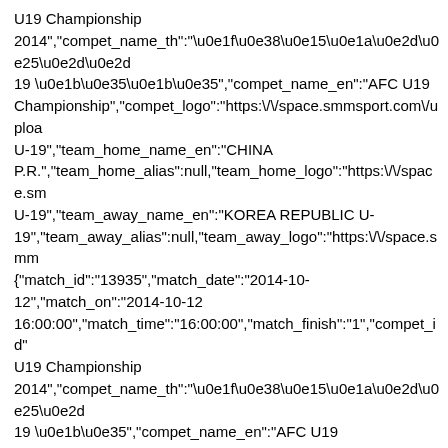U19 Championship 2014","compet_name_th":"\u0e1f\u0e38\u0e15\u0e1a\u0e2d\u0e25\u0e2d \u0e2d\u0e32\u0e40\u0e0b\u0e35\u0e22 U 19 \u0e1b\u0e35 2014U19 \u0e1b\u0e35 2014","compet_name_en":"AFC U19 Championship","compet_logo":"https:\/\/space.smmsport.com\/uploa U-19","team_home_name_en":"CHINA P.R.","team_home_alias":null,"team_home_logo":"https:\/\/space.sm U-19","team_away_name_en":"KOREA REPUBLIC U-19","team_away_alias":null,"team_away_logo":"https:\/\/space.smm {"match_id":"13935","match_date":"2014-10-12","match_on":"2014-10-12 16:00:00","match_time":"16:00:00","match_finish":"1","compet_id" U19 Championship 2014","compet_name_th":"\u0e1f\u0e38\u0e15\u0e1a\u0e2d\u0e25\u0e2d 19 \u0e1b\u0e35","compet_name_en":"AFC U19 Championship","compet_logo":"https:\/\/space.smmsport.com\/uploa U-19","team_home_name_en":"INDONESIA U19","team_home_alias":null,"team_home_logo":"https:\/\/space.sm U- 19","team_away_name_en":"AUSTRALIA","team_away_alias":nul {"match_id":"13947","match_date":"2014-10-12","match_on":"2014-10-12 16:00:00","match_time":"16:00:00","match_finish":"1","compet_id" U19 Championship 2014","compet_name_th":"\u0e1f\u0e38\u0e15\u0e1a\u0e2d\u0e25\u0e2d 19 \u0e1b\u0e35","compet_name_en":"AFC U19